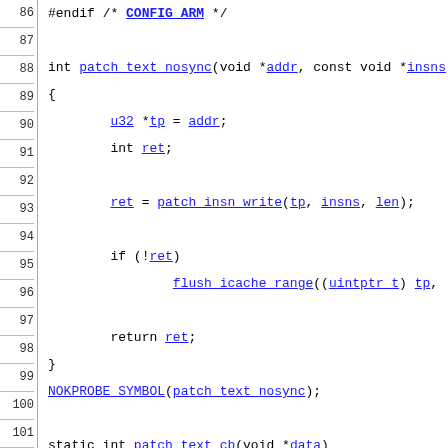[Figure (screenshot): Source code listing in C showing lines 86-116 of a Linux kernel patch function. Line numbers are shown on the left with borders, and code is shown in monospace font with hyperlinked identifiers in blue underline.]